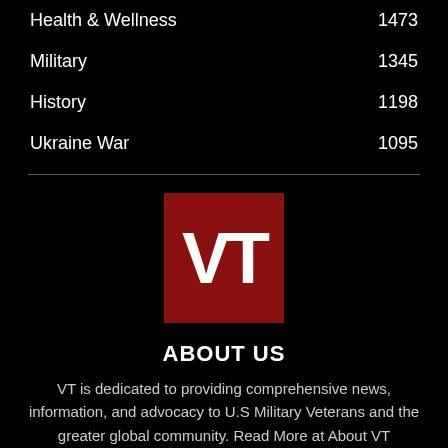Health & Wellness 1473
Military 1345
History 1198
Ukraine War 1095
[Figure (logo): VT logo — white letters VT on a dark red square background]
ABOUT US
VT is dedicated to providing comprehensive news, information, and advocacy to U.S Military Veterans and the greater global community. Read More at About VT